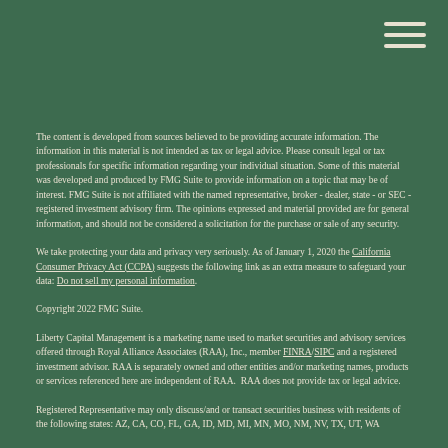The content is developed from sources believed to be providing accurate information. The information in this material is not intended as tax or legal advice. Please consult legal or tax professionals for specific information regarding your individual situation. Some of this material was developed and produced by FMG Suite to provide information on a topic that may be of interest. FMG Suite is not affiliated with the named representative, broker - dealer, state - or SEC - registered investment advisory firm. The opinions expressed and material provided are for general information, and should not be considered a solicitation for the purchase or sale of any security.
We take protecting your data and privacy very seriously. As of January 1, 2020 the California Consumer Privacy Act (CCPA) suggests the following link as an extra measure to safeguard your data: Do not sell my personal information.
Copyright 2022 FMG Suite.
Liberty Capital Management is a marketing name used to market securities and advisory services offered through Royal Alliance Associates (RAA), Inc., member FINRA/SIPC and a registered investment advisor. RAA is separately owned and other entities and/or marketing names, products or services referenced here are independent of RAA.  RAA does not provide tax or legal advice.
Registered Representative may only discuss/and or transact securities business with residents of the following states: AZ, CA, CO, FL, GA, ID, MD, MI, MN, MO, NM, NV, TX, UT, WA